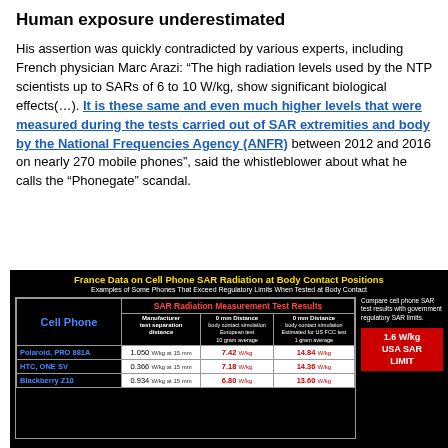Human exposure underestimated
His assertion was quickly contradicted by various experts, including French physician Marc Arazi: “The high radiation levels used by the NTP scientists up to SARs of 6 to 10 W/kg, show significant biological effects(…). It is these same and even much higher levels that were measured during the tests carried out of SAR extremities and body by the National Frequencies Agency (ANFR) between 2012 and 2016 on nearly 270 mobile phones”, said the whistleblower about what he calls the “Phonegate” scandal.
[Figure (table-as-image): France Data on Cell Phone SAR Radiation at Body Contact Positions. Examples of Some Phones That Exceed Regulatory Limits When Tested at Body Contact. Table showing Cell Phone make/model, Manufacturer test separation distance, 0 mm Distance body contact simulation European test 10 gram average, 0 mm Distance body contact simulation estimated for US FCC test 1 gram average. Polaroid PRO 881A: 1.050 W/kg at 15mm, 7.42 W/kg, 14.84 W/kg. HTC ONE SV: 0.366 W/kg at 15mm, 7.18 W/kg, 14.36 W/kg. Blackberry Z10: 0.934 W/kg at 15mm, 6.80 W/kg, 13.60 W/kg. Side note: Compare cell phone SAR test results with government regulatory SAR limits. 1.6 W/kg USA SAR LIMIT.]